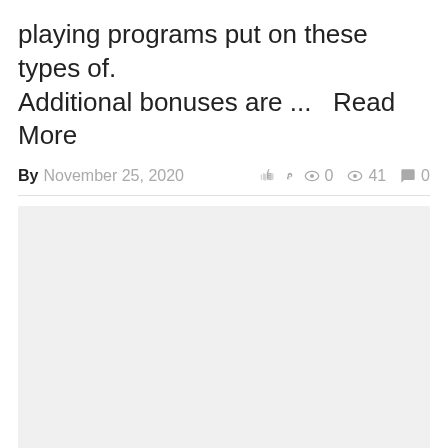playing programs put on these types of. Additional bonuses are ...   Read More
By November 25, 2020   0  41  0
[Figure (other): Gray placeholder rectangle]